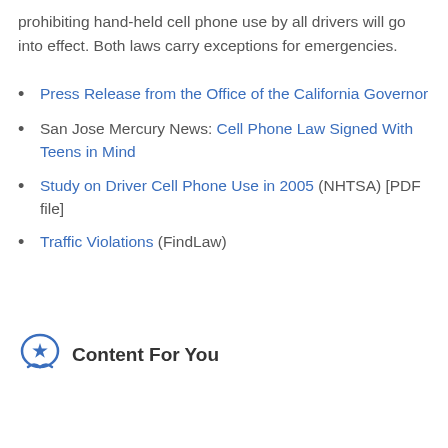prohibiting hand-held cell phone use by all drivers will go into effect. Both laws carry exceptions for emergencies.
Press Release from the Office of the California Governor
San Jose Mercury News: Cell Phone Law Signed With Teens in Mind
Study on Driver Cell Phone Use in 2005 (NHTSA) [PDF file]
Traffic Violations (FindLaw)
Content For You